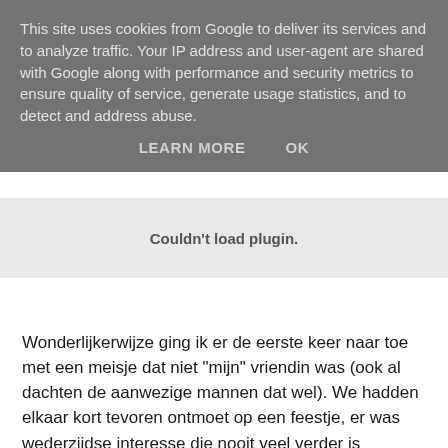This site uses cookies from Google to deliver its services and to analyze traffic. Your IP address and user-agent are shared with Google along with performance and security metrics to ensure quality of service, generate usage statistics, and to detect and address abuse.
LEARN MORE   OK
Couldn't load plugin.
Wonderlijkerwijze ging ik er de eerste keer naar toe met een meisje dat niet "mijn" vriendin was (ook al dachten de aanwezige mannen dat wel). We hadden elkaar kort tevoren ontmoet op een feestje, er was wederzijdse interesse die nooit veel verder is gekomen. In een kort eren volgend